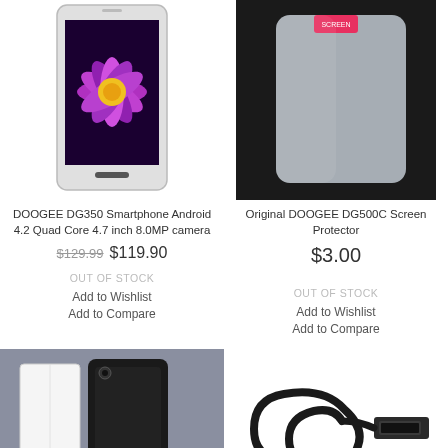[Figure (photo): DOOGEE DG350 smartphone with flower wallpaper on screen]
DOOGEE DG350 Smartphone Android 4.2 Quad Core 4.7 inch 8.0MP camera
$129.99  $119.90
OUT OF STOCK
Add to Wishlist
Add to Compare
[Figure (photo): Original DOOGEE DG500C screen protector on black background]
Original DOOGEE DG500C Screen Protector
$3.00
OUT OF STOCK
Add to Wishlist
Add to Compare
[Figure (photo): Smartphone case/cover product on gray background]
[Figure (photo): USB cable coiled on white background]